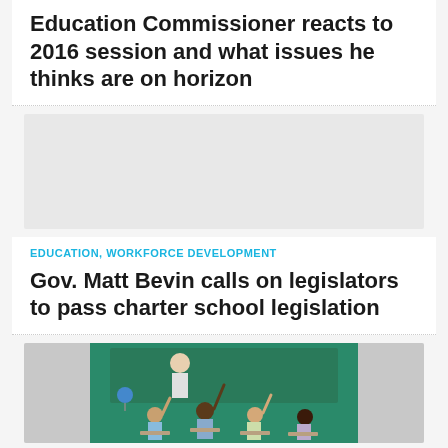Education Commissioner reacts to 2016 session and what issues he thinks are on horizon
[Figure (photo): Placeholder image area (light gray) associated with Education Commissioner article]
EDUCATION, WORKFORCE DEVELOPMENT
Gov. Matt Bevin calls on legislators to pass charter school legislation
[Figure (photo): Classroom photo showing children raising their hands at desks with a teacher and chalkboard in the background]